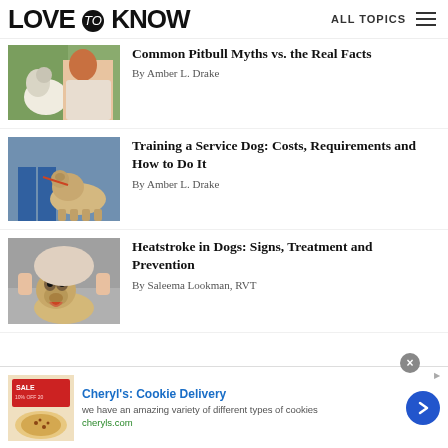LoveToKnow — ALL TOPICS
[Figure (photo): Woman kissing a white pitbull dog outdoors]
Common Pitbull Myths vs. the Real Facts
By Amber L. Drake
[Figure (photo): Golden retriever service dog on a leash with handler]
Training a Service Dog: Costs, Requirements and How to Do It
By Amber L. Drake
[Figure (photo): Pug dog lying on ground being petted]
Heatstroke in Dogs: Signs, Treatment and Prevention
By Saleema Lookman, RVT
[Figure (photo): Advertisement image showing cookies on a plate]
Cheryl's: Cookie Delivery — we have an amazing variety of different types of cookies — cheryls.com